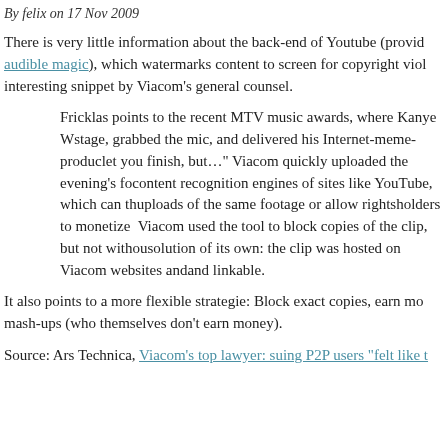By felix on 17 Nov 2009
There is very little information about the back-end of Youtube (provid... audible magic), which watermarks content to screen for copyright viol... interesting snippet by Viacom's general counsel.
Fricklas points to the recent MTV music awards, where Kanye W... stage, grabbed the mic, and delivered his Internet-meme-produc... let you finish, but…" Viacom quickly uploaded the evening's fo... content recognition engines of sites like YouTube, which can th... uploads of the same footage or allow rightsholders to monetize ... Viacom used the tool to block copies of the clip, but not withou... solution of its own: the clip was hosted on Viacom websites and... and linkable.
It also points to a more flexible strategie: Block exact copies, earn mo... mash-ups (who themselves don't earn money).
Source: Ars Technica, Viacom's top lawyer: suing P2P users "felt like t...